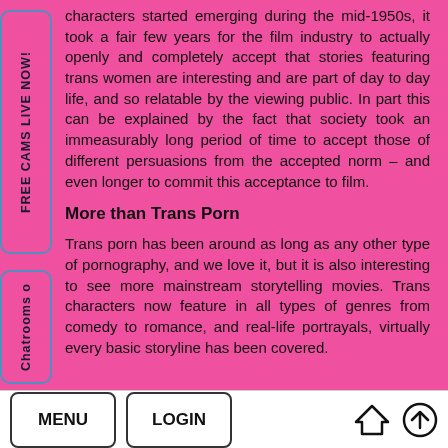characters started emerging during the mid-1950s, it took a fair few years for the film industry to actually openly and completely accept that stories featuring trans women are interesting and are part of day to day life, and so relatable by the viewing public. In part this can be explained by the fact that society took an immeasurably long period of time to accept those of different persuasions from the accepted norm – and even longer to commit this acceptance to film.
More than Trans Porn
Trans porn has been around as long as any other type of pornography, and we love it, but it is also interesting to see more mainstream storytelling movies. Trans characters now feature in all types of genres from comedy to romance, and real-life portrayals, virtually every basic storyline has been covered.
FREE CAMS LIVE NOW!
Chatrooms o